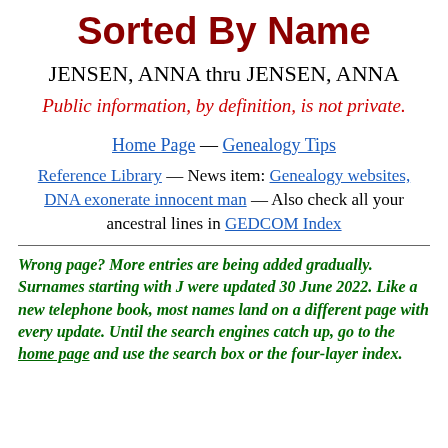Sorted By Name
JENSEN, ANNA thru JENSEN, ANNA
Public information, by definition, is not private.
Home Page — Genealogy Tips
Reference Library — News item: Genealogy websites, DNA exonerate innocent man — Also check all your ancestral lines in GEDCOM Index
Wrong page? More entries are being added gradually. Surnames starting with J were updated 30 June 2022. Like a new telephone book, most names land on a different page with every update. Until the search engines catch up, go to the home page and use the search box or the four-layer index.